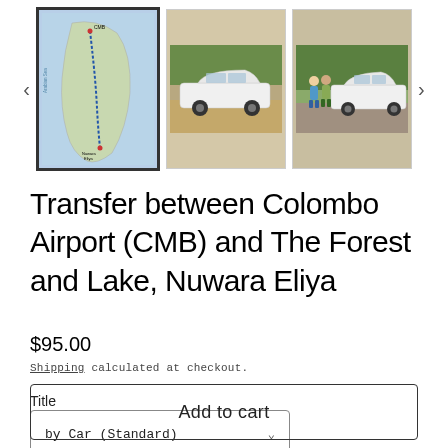[Figure (photo): Image gallery showing three thumbnails: a map of Sri Lanka's west coast route, a white car on a dirt road, and two people standing next to a white car. Navigation arrows on left and right.]
Transfer between Colombo Airport (CMB) and The Forest and Lake, Nuwara Eliya
$95.00
Shipping calculated at checkout.
Title
by Car (Standard)
Add to cart